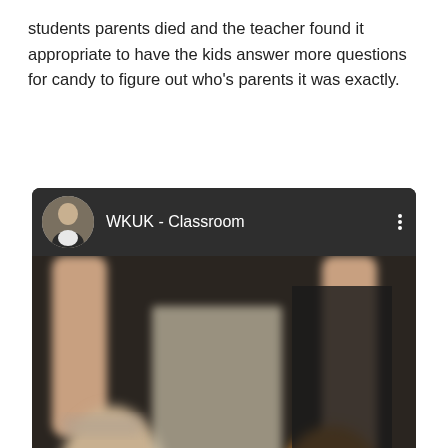students parents died and the teacher found it appropriate to have the kids answer more questions for candy to figure out who's parents it was exactly.
[Figure (screenshot): Embedded video card showing a YouTube-style video titled 'WKUK - Classroom' with a channel avatar and a blurry classroom screenshot thumbnail. An ad overlay with a close button partially covers the bottom of the video.]